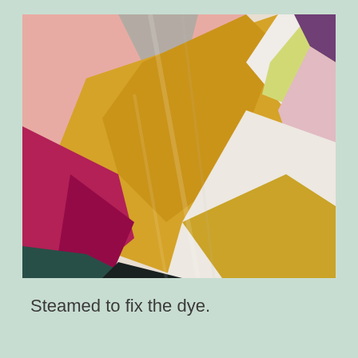[Figure (photo): Close-up photograph of colorful dyed fabric or textile showing overlapping geometric shapes in pink, yellow/gold, crimson/magenta, gray, white, light green, and dark teal/black colors. The fabric appears crinkled or textured.]
Steamed to fix the dye.